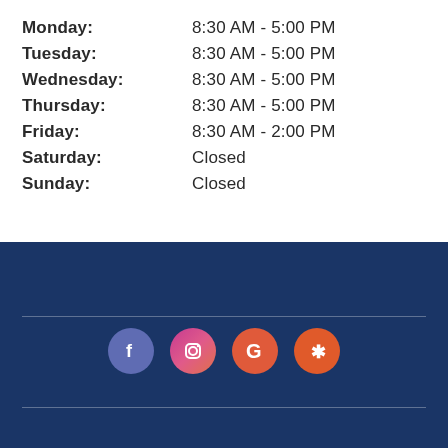| Day | Hours |
| --- | --- |
| Monday: | 8:30 AM - 5:00 PM |
| Tuesday: | 8:30 AM - 5:00 PM |
| Wednesday: | 8:30 AM - 5:00 PM |
| Thursday: | 8:30 AM - 5:00 PM |
| Friday: | 8:30 AM - 2:00 PM |
| Saturday: | Closed |
| Sunday: | Closed |
[Figure (infographic): Dark blue footer section with a horizontal divider line, four social media icons (Facebook, Instagram, Google, Yelp) in colored circles, and a bottom divider line.]